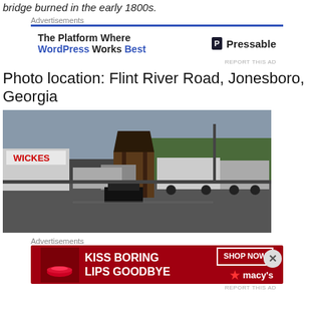bridge burned in the early 1800s.
Advertisements
[Figure (infographic): Advertisement banner: The Platform Where WordPress Works Best | Pressable]
Photo location: Flint River Road, Jonesboro, Georgia
[Figure (photo): Photo of a parking lot on Flint River Road, Jonesboro, Georgia, with large trucks, a wooden gazebo/well structure in the center, a black car, and a WICKES sign in the background.]
Advertisements
[Figure (infographic): Advertisement banner: KISS BORING LIPS GOODBYE | SHOP NOW | macy's]